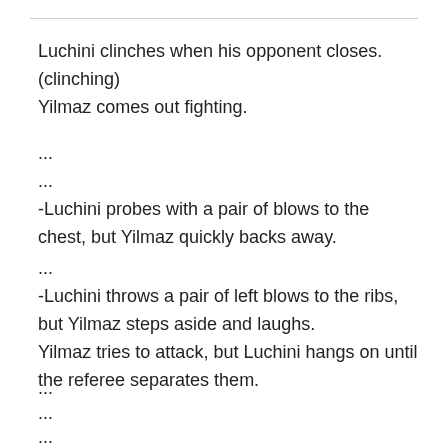Luchini clinches when his opponent closes. (clinching) Yilmaz comes out fighting.
...
...
-Luchini probes with a pair of blows to the chest, but Yilmaz quickly backs away.
...
-Luchini throws a pair of left blows to the ribs, but Yilmaz steps aside and laughs.
Yilmaz tries to attack, but Luchini hangs on until the referee separates them.
...
...
...
Yilmaz tries to attack, but Luchini hangs on until the